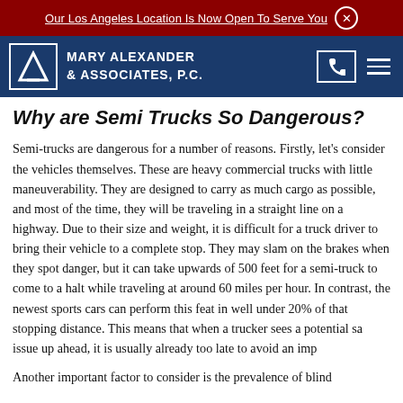Our Los Angeles Location Is Now Open To Serve You
[Figure (logo): Mary Alexander & Associates, P.C. law firm header with logo and navigation icons]
Why are Semi Trucks So Dangerous?
Semi-trucks are dangerous for a number of reasons. Firstly, let's consider the vehicles themselves. These are heavy commercial trucks with little maneuverability. They are designed to carry as much cargo as possible, and most of the time, they will be traveling in a straight line on a highway. Due to their size and weight, it is difficult for a truck driver to bring their vehicle to a complete stop. They may slam on the brakes when they spot danger, but it can take upwards of 500 feet for a semi-truck to come to a halt while traveling at around 60 miles per hour. In contrast, the newest sports cars can perform this feat in well under 20% of that stopping distance. This means that when a trucker sees a potential safety issue up ahead, it is usually already too late to avoid an impact.
Another important factor to consider is the prevalence of blind